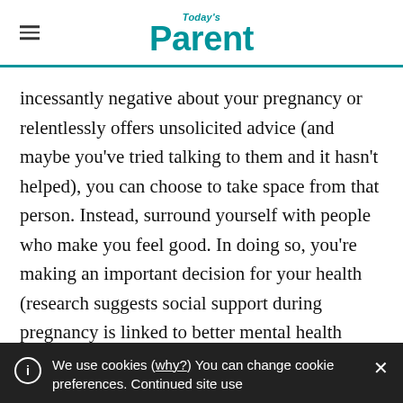Today's Parent
incessantly negative about your pregnancy or relentlessly offers unsolicited advice (and maybe you've tried talking to them and it hasn't helped), you can choose to take space from that person. Instead, surround yourself with people who make you feel good. In doing so, you're making an important decision for your health (research suggests social support during pregnancy is linked to better mental health
We use cookies (why?) You can change cookie preferences. Continued site use